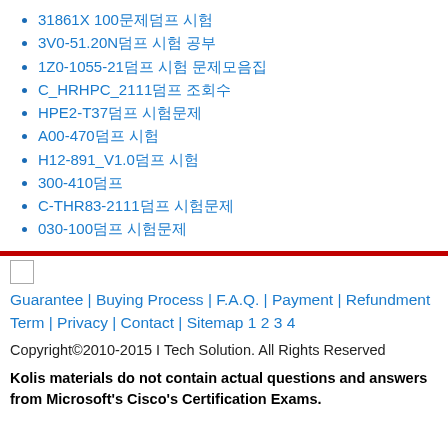31861X 100문제덤프 시험
3V0-51.20N덤프 시험 공부
1Z0-1055-21덤프 시험 문제모음집
C_HRHPC_2111덤프 조회수
HPE2-T37덤프 시험문제
A00-470덤프 시험
H12-891_V1.0덤프 시험
300-410덤프
C-THR83-2111덤프 시험문제
030-100덤프 시험문제
Guarantee | Buying Process | F.A.Q. | Payment | Refundment Term | Privacy | Contact | Sitemap 1 2 3 4
Copyright©2010-2015 I Tech Solution. All Rights Reserved
Kolis materials do not contain actual questions and answers from Microsoft's Cisco's Certification Exams.